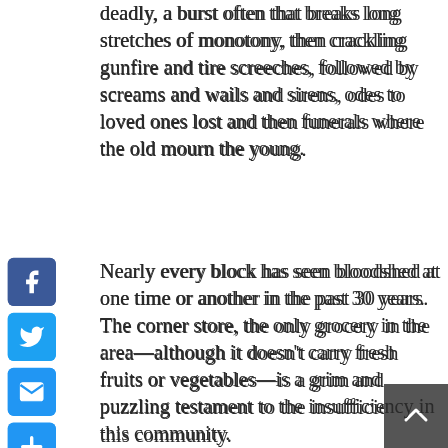deadly, a burst often that breaks long stretches of monotony, then crackling gunfire and tire screeches, followed by screams and wails and sirens, odes to loved ones lost and then funerals where the old mourn the young.
Nearly every block has seen bloodshed at one time or another in the past 30 years. The corner store, the only grocery in the area—although it doesn't carry fresh fruits or vegetables—is a grim and puzzling testament to the insufficiency in this community.
[Figure (photo): Street-level photo of a corner store with a sign reading 'RANC PRODUCE' and graffiti on the walls including 'CHAMP .99', 'DAC', and 'BIG COOP'. A person in a red shirt stands near the entrance. Power lines visible against blue sky.]
The north-facing wall is bede